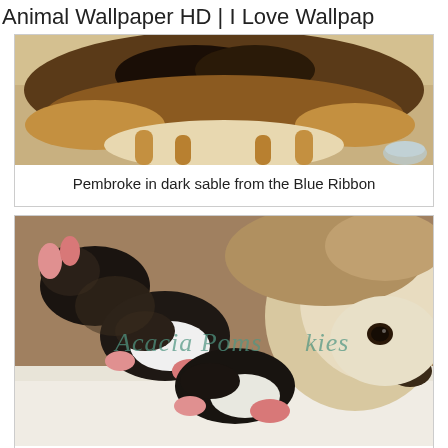Animal Wallpaper HD | I Love Wallpap
[Figure (photo): Corgi or similar dog photographed from above showing its dark sable back and hindquarters]
Pembroke in dark sable from the Blue Ribbon
[Figure (photo): Mother Siberian Husky lying down with several newborn black and white puppies nursing, watermark reads Acacia Pomskies]
Pin by Acacia Pomsky Puppies on Siberian Husky Nymeria